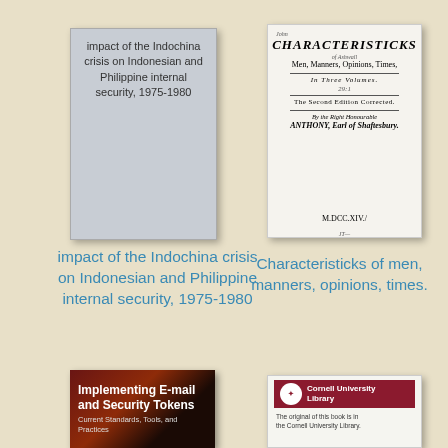[Figure (illustration): Book cover placeholder - gray cover with text: impact of the Indochina crisis on Indonesian and Philippine internal security, 1975-1980]
[Figure (illustration): Scanned title page of old book: Characteristicks of Men, Manners, Opinions, Times. In Three Volumes. The Second Edition Corrected. By the Right Honourable Anthony, Earl of Shaftesbury. M.DCC.XIV.]
impact of the Indochina crisis on Indonesian and Philippine internal security, 1975-1980
Characteristicks of men, manners, opinions, times.
[Figure (illustration): Book cover: Implementing E-mail and Security Tokens: Current Standards, Tools, and Practices - dark red/black cover]
[Figure (illustration): Cornell University Library - white cover with red banner logo and text: The original of this book is in the Cornell University Library]